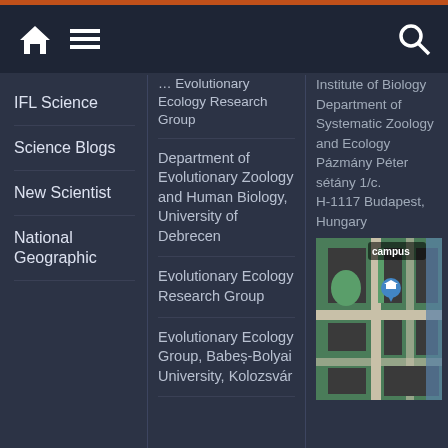Navigation bar with home icon, menu icon, and search icon
IFL Science
Science Blogs
New Scientist
National Geographic
Evolutionary Ecology Research Group
Department of Evolutionary Zoology and Human Biology, University of Debrecen
Evolutionary Ecology Research Group
Evolutionary Ecology Group, Babeș-Bolyai University, Kolozsvár
Institute of Biology Department of Systematic Zoology and Ecology Pázmány Péter sétány 1/c. H-1117 Budapest, Hungary
[Figure (map): Satellite/aerial map view labeled 'campus' showing a university campus area in Budapest, Hungary, with a location pin marker]